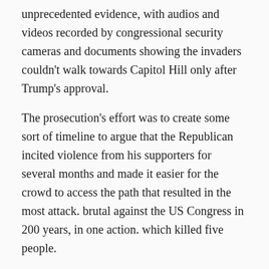unprecedented evidence, with audios and videos recorded by congressional security cameras and documents showing the invaders couldn't walk towards Capitol Hill only after Trump's approval.
The prosecution's effort was to create some sort of timeline to argue that the Republican incited violence from his supporters for several months and made it easier for the crowd to access the path that resulted in the most attack. brutal against the US Congress in 200 years, in one action. which killed five people.
One of the prosecutors, Democratic Representative Stacey Plaskett, was responsible for showing senators the reproduction of the license for the January 6 protests that initially did not allow the protesters to move.
“The permit clearly indicated that he would not be [REDACTED]